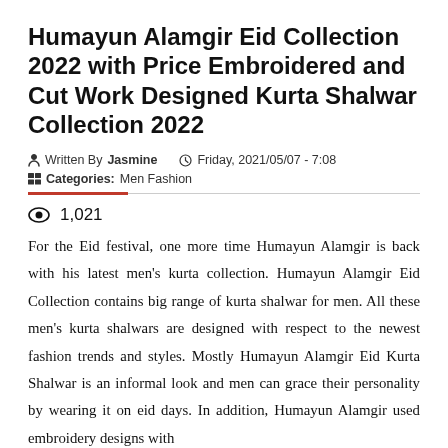Humayun Alamgir Eid Collection 2022 with Price Embroidered and Cut Work Designed Kurta Shalwar Collection 2022
Written By Jasmine   Friday, 2021/05/07 - 7:08
Categories: Men Fashion
1,021
For the Eid festival, one more time Humayun Alamgir is back with his latest men's kurta collection. Humayun Alamgir Eid Collection contains big range of kurta shalwar for men. All these men's kurta shalwars are designed with respect to the newest fashion trends and styles. Mostly Humayun Alamgir Eid Kurta Shalwar is an informal look and men can grace their personality by wearing it on eid days. In addition, Humayun Alamgir used embroidery designs with